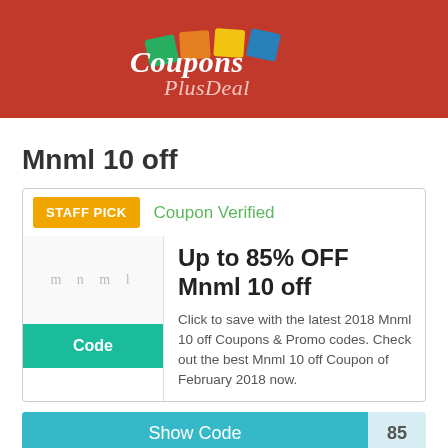[Figure (logo): CouponsPlusDeal logo with colored square tiles and italic white text on red background]
Mnml 10 off
[Figure (infographic): Coupon card with STAFF PICK badge, Coupon Verified label, mnml logo thumbnail, Code button, offer title 'Up to 85% OFF Mnml 10 off', description text, and Show Code button]
Coupon Verified
Up to 85% OFF Mnml 10 off
Click to save with the latest 2018 Mnml 10 off Coupons & Promo codes. Check out the best Mnml 10 off Coupon of February 2018 now.